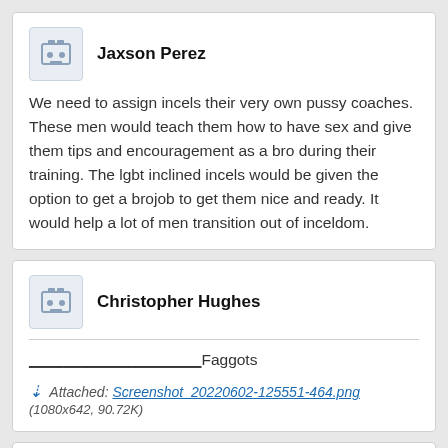Jaxson Perez
We need to assign incels their very own pussy coaches. These men would teach them how to have sex and give them tips and encouragement as a bro during their training. The lgbt inclined incels would be given the option to get a brojob to get them nice and ready. It would help a lot of men transition out of inceldom.
Christopher Hughes
____________________Faggots
Attached: Screenshot_20220602-125551-464.png (1080x642, 90.72K)
Elijah Clark
>>380683680Gotcha. Ive noticed with gay men, most